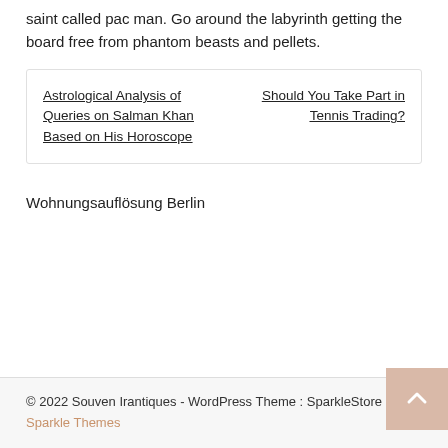saint called pac man. Go around the labyrinth getting the board free from phantom beasts and pellets.
Astrological Analysis of Queries on Salman Khan Based on His Horoscope
Should You Take Part in Tennis Trading?
Wohnungsauflösung Berlin
© 2022 Souven Irantiques - WordPress Theme : SparkleStore By Sparkle Themes